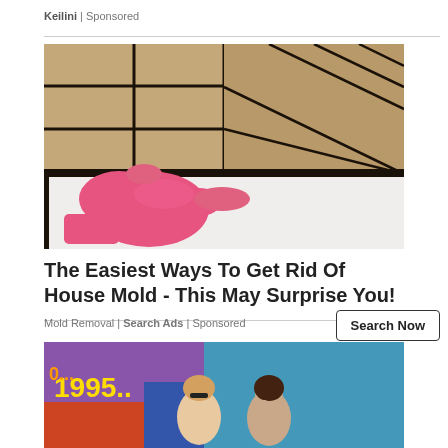Keilini | Sponsored
[Figure (photo): Photo of a pink-gloved hand pointing at black mold on bathtub and tile grout in a bathroom.]
The Easiest Ways To Get Rid Of House Mold - This May Surprise You!
Mold Removal | Search Ads | Sponsored
Search Now
[Figure (photo): Photo of two women near a graffiti wall outdoors.]